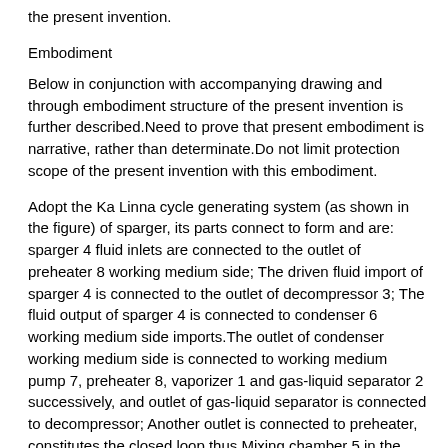the present invention.
Embodiment
Below in conjunction with accompanying drawing and through embodiment structure of the present invention is further described.Need to prove that present embodiment is narrative, rather than determinate.Do not limit protection scope of the present invention with this embodiment.
Adopt the Ka Linna cycle generating system (as shown in the figure) of sparger, its parts connect to form and are: sparger 4 fluid inlets are connected to the outlet of preheater 8 working medium side; The driven fluid import of sparger 4 is connected to the outlet of decompressor 3; The fluid output of sparger 4 is connected to condenser 6 working medium side imports.The outlet of condenser working medium side is connected to working medium pump 7, preheater 8, vaporizer 1 and gas-liquid separator 2 successively, and outlet of gas-liquid separator is connected to decompressor; Another outlet is connected to preheater, constitutes the closed loop thus.Mixing chamber 5 in the sparger 4 is as the absorption mixing